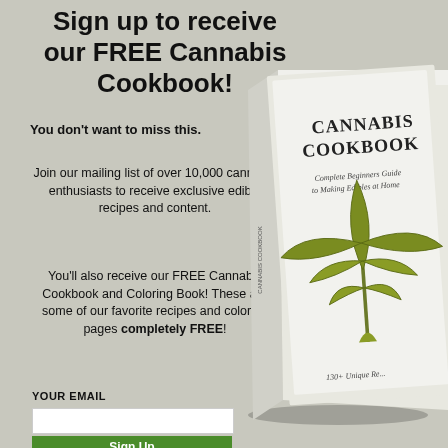Sign up to receive our FREE Cannabis Cookbook!
You don't want to miss this.
Join our mailing list of over 10,000 cannabis enthusiasts to receive exclusive edible recipes and content.
You'll also receive our FREE Cannabis Cookbook and Coloring Book! These are some of our favorite recipes and coloring pages completely FREE!
[Figure (illustration): A white Cannabis Cookbook with a cannabis leaf illustration on the cover, tilted at an angle. The cover reads: CANNABIS COOKBOOK, Complete Beginners Guide to Making Edibles at Home, 130+ Unique Recipes]
YOUR EMAIL
Sign Up